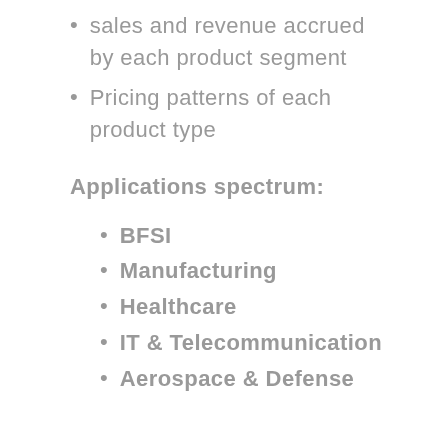sales and revenue accrued by each product segment
Pricing patterns of each product type
Applications spectrum:
BFSI
Manufacturing
Healthcare
IT & Telecommunication
Aerospace & Defense